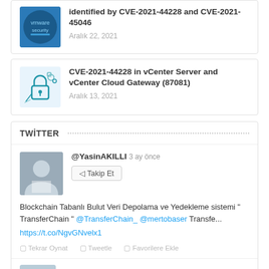identified by CVE-2021-44228 and CVE-2021-45046 — Aralık 22, 2021
CVE-2021-44228 in vCenter Server and vCenter Cloud Gateway (87081) — Aralık 13, 2021
TWİTTER
@YasinAKILLI 3 ay önce — Blockchain Tabanlı Bulut Veri Depolama ve Yedekleme sistemi " TransferChain " @TransferChain_ @mertobaser Transfe... https://t.co/NgvGNvelx1
Tekrar Oynat  Tweetle  Favorilere Ekle
@YasinAKILLI